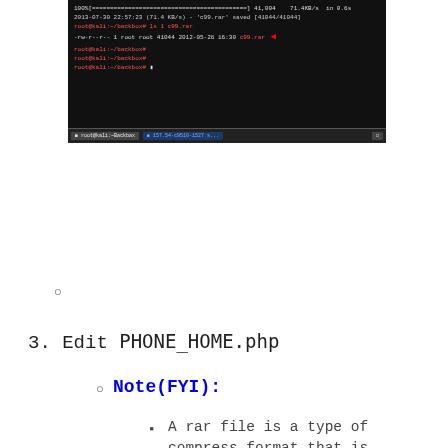[Figure (screenshot): Terminal/console window screenshot showing file download progress, file saved message, ls command output showing c99.rar file highlighted with red arrow, and multiple root@kali:~/backbox# prompts. Taskbar visible at bottom.]
3. Edit PHONE_HOME.php
Note(FYI):
A rar file is a type of compress format that is seen more in the windows environment than in linux.
Also, we will edit the c99.php file with the sed utility.
Instructions:
1. unrar x c99.rar